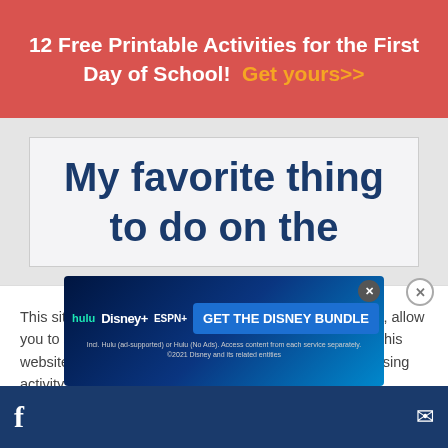12 Free Printable Activities for the First Day of School! Get yours>>
[Figure (other): Partially visible worksheet with text 'My favorite thing to do on the' in large dark blue bold font on a light background]
This site uses cookies to improve your online experience, allow you to share content on social media, measure traffic to this website and display customised ads based on your browsing activity.
Learn More
Accept
[Figure (other): Disney bundle advertisement banner showing Hulu, Disney+, ESPN+ logos with text 'GET THE DISNEY BUNDLE' and small print 'Incl. Hulu (ad-supported) or Hulu (No Ads). Access content from each service separately. ©2021 Disney and its related entities']
Social media footer bar with Facebook and email icons